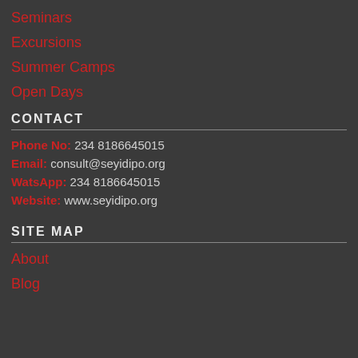Seminars
Excursions
Summer Camps
Open Days
CONTACT
Phone No: 234 8186645015
Email: consult@seyidipo.org
WatsApp: 234 8186645015
Website: www.seyidipo.org
SITE MAP
About
Blog